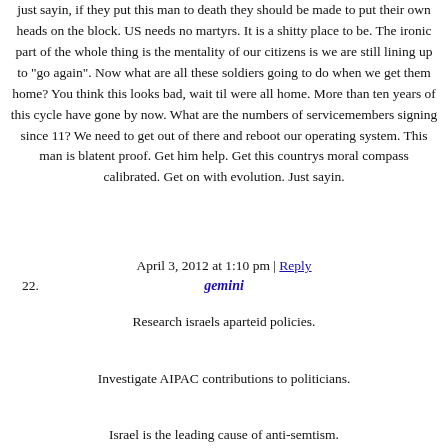just sayin, if they put this man to death they should be made to put their own heads on the block. US needs no martyrs. It is a shitty place to be. The ironic part of the whole thing is the mentality of our citizens is we are still lining up to "go again". Now what are all these soldiers going to do when we get them home? You think this looks bad, wait til were all home. More than ten years of this cycle have gone by now. What are the numbers of servicemembers signing since 11? We need to get out of there and reboot our operating system. This man is blatent proof. Get him help. Get this countrys moral compass calibrated. Get on with evolution. Just sayin.
April 3, 2012 at 1:10 pm | Reply
22. gemini
Research israels aparteid policies.

Investigate AIPAC contributions to politicians.

Israel is the leading cause of anti-semtism.

Jewsagainstzionism.com

Don't support pro zionist politicians.